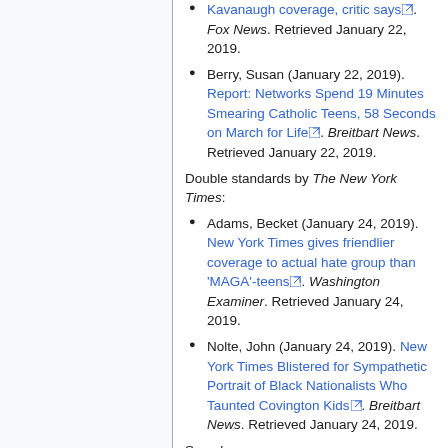Kavanaugh coverage, critic says. Fox News. Retrieved January 22, 2019.
Berry, Susan (January 22, 2019). Report: Networks Spend 19 Minutes Smearing Catholic Teens, 58 Seconds on March for Life. Breitbart News. Retrieved January 22, 2019.
Double standards by The New York Times:
Adams, Becket (January 24, 2019). New York Times gives friendlier coverage to actual hate group than 'MAGA'-teens. Washington Examiner. Retrieved January 24, 2019.
Nolte, John (January 24, 2019). New York Times Blistered for Sympathetic Portrait of Black Nationalists Who Taunted Covington Kids. Breitbart News. Retrieved January 24, 2019.
See also: